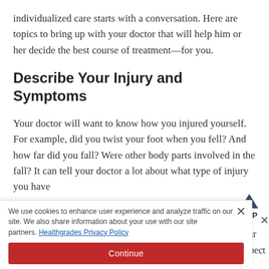individualized care starts with a conversation. Here are topics to bring up with your doctor that will help him or her decide the best course of treatment—for you.
Describe Your Injury and Symptoms
Your doctor will want to know how you injured yourself. For example, did you twist your foot when you fell? And how far did you fall? Were other body parts involved in the fall? It can tell your doctor a lot about what type of injury you have
We use cookies to enhance user experience and analyze traffic on our site. We also share information about your use with our site partners. Healthgrades Privacy Policy
Continue